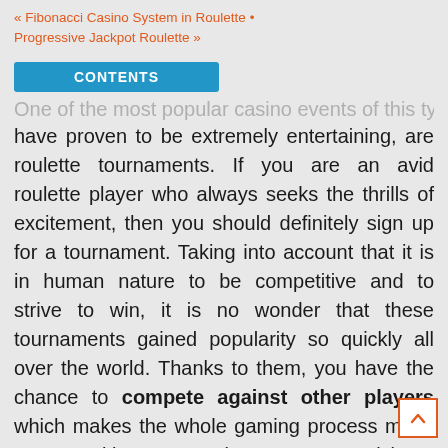« Fibonacci Casino System in Roulette • Progressive Jackpot Roulette »
CONTENTS
One of the most popular casino events of this type which have proven to be extremely entertaining, are roulette tournaments. If you are an avid roulette player who always seeks the thrills of excitement, then you should definitely sign up for a tournament. Taking into account that it is in human nature to be competitive and to strive to win, it is no wonder that these tournaments gained popularity so quickly all over the world. Thanks to them, you have the chance to compete against other players which makes the whole gaming process much more exciting. Presently, you can participate in a number of roulette tournaments that are held on a regular basis by many casinos.